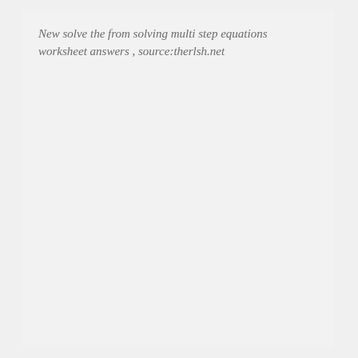New solve the from solving multi step equations worksheet answers , source:therlsh.net